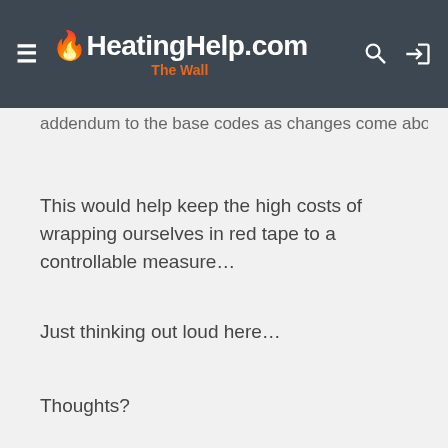HeatingHelp.com The Wall
addendum to the base codes as changes come about.
This would help keep the high costs of wrapping ourselves in red tape to a controllable measure…
Just thinking out loud here…
Thoughts?